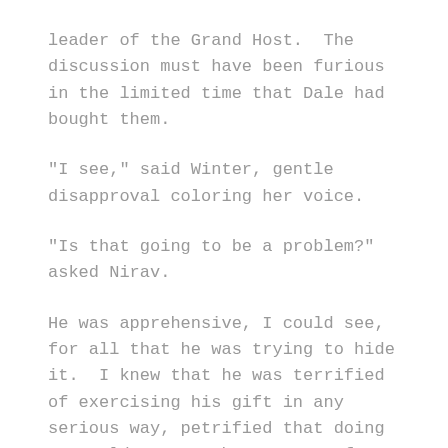leader of the Grand Host.  The discussion must have been furious in the limited time that Dale had bought them.
"I see," said Winter, gentle disapproval coloring her voice.
"Is that going to be a problem?" asked Nirav.
He was apprehensive, I could see, for all that he was trying to hide it.  I knew that he was terrified of exercising his gift in any serious way, petrified that doing so could return the creature from the depths of his mind.
I intended to make sure he never had to.